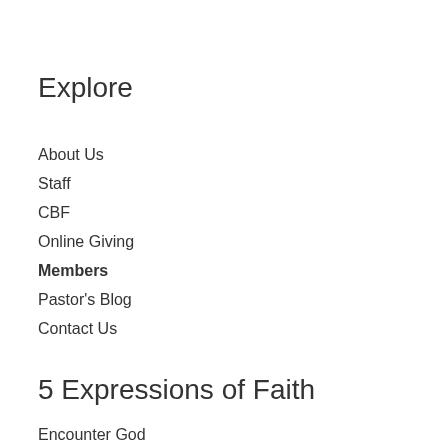Explore
About Us
Staff
CBF
Online Giving
Members
Pastor's Blog
Contact Us
5 Expressions of Faith
Encounter God